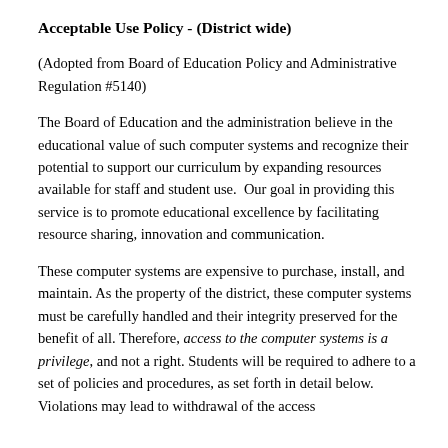Acceptable Use Policy - (District wide)
(Adopted from Board of Education Policy and Administrative Regulation #5140)
The Board of Education and the administration believe in the educational value of such computer systems and recognize their potential to support our curriculum by expanding resources available for staff and student use.  Our goal in providing this service is to promote educational excellence by facilitating resource sharing, innovation and communication.
These computer systems are expensive to purchase, install, and maintain. As the property of the district, these computer systems must be carefully handled and their integrity preserved for the benefit of all. Therefore, access to the computer systems is a privilege, and not a right. Students will be required to adhere to a set of policies and procedures, as set forth in detail below. Violations may lead to withdrawal of the access